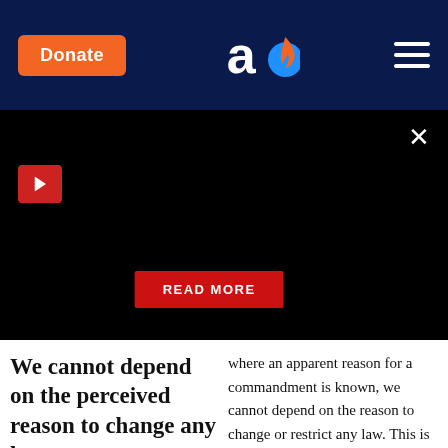Donate | [Aish logo] | [Menu]
[Figure (screenshot): Black video player area with red play button and READ MORE button overlay]
We cannot depend on the perceived reason to change any law.
where an apparent reason for a commandment is known, we cannot depend on the reason to change or restrict any law. This is even true where the reason is specified in the Torah, since there may be other reasons that are not